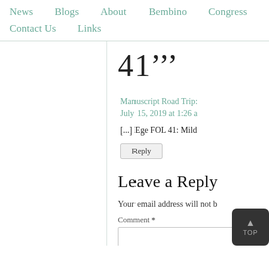News   Blogs   About   Bembino   Congress   Ev   Contact Us   Links
41’’’
Manuscript Road Trip:
July 15, 2019 at 1:26 a
[...] Ege FOL 41: Mild
Reply
Leave a Reply
Your email address will not b
Comment *